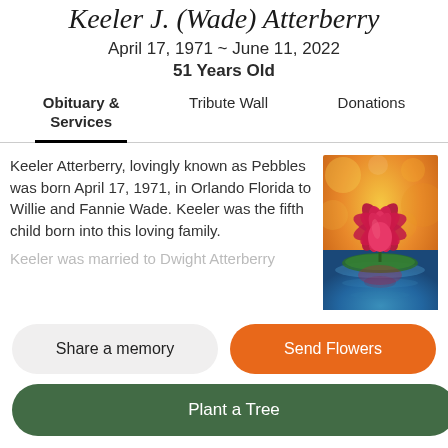Keeler J. (Wade) Atterberry
April 17, 1971 ~ June 11, 2022
51 Years Old
Obituary & Services
Tribute Wall
Donations
Keeler Atterberry, lovingly known as Pebbles was born April 17, 1971, in Orlando Florida to Willie and Fannie Wade. Keeler was the fifth child born into this loving family.
Keeler was married to Dwight Atterberry
[Figure (photo): A vibrant red lotus or water lily flower floating on blue water with a colorful bokeh background in warm orange and yellow tones.]
Share a memory
Send Flowers
Plant a Tree